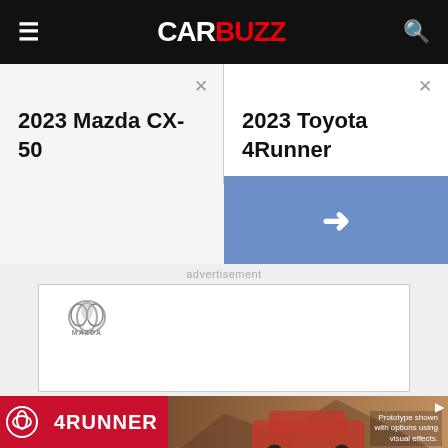CarBuzz
2023 Mazda CX-50
2023 Toyota 4Runner
advertisement
[Figure (logo): Mazda logo in advertisement box]
[Figure (photo): Toyota 4Runner advertisement banner showing red SUV with text 'Prototype shown with options using visual effects.']